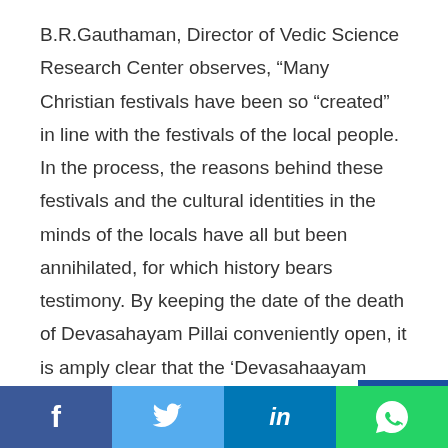B.R.Gauthaman, Director of Vedic Science Research Center observes, “Many Christian festivals have been so “created” in line with the festivals of the local people. In the process, the reasons behind these festivals and the cultural identities in the minds of the locals have all but been annihilated, for which history bears testimony. By keeping the date of the death of Devasahayam Pillai conveniently open, it is amply clear that the ‘Devasahaayam Pillai  Festival’ too has been craftily created by the Church to destroy the ancient tradition of celebrating Pongal. (4)